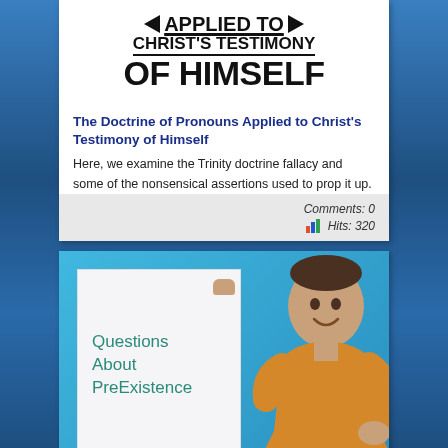[Figure (illustration): Title graphic with black text: arrows pointing inward, 'APPLIED TO', 'CHRIST'S TESTIMONY', 'OF HIMSELF' in bold black lettering on white background]
The Doctrine of Pronouns Applied to Christ's Testimony of Himself
Here, we examine the Trinity doctrine fallacy and some of the nonsensical assertions used to prop it up.
Comments: 0
Hits: 320
[Figure (photo): A smiling man in a yellow shirt against a blue background, holding up a white sign that reads 'Questions About PreExistence' in teal handwritten text]